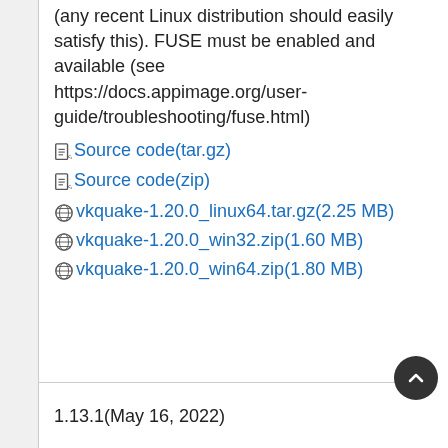(any recent Linux distribution should easily satisfy this). FUSE must be enabled and available (see https://docs.appimage.org/user-guide/troubleshooting/fuse.html)
Source code(tar.gz)
Source code(zip)
vkquake-1.20.0_linux64.tar.gz(2.25 MB)
vkquake-1.20.0_win32.zip(1.60 MB)
vkquake-1.20.0_win64.zip(1.80 MB)
1.13.1(May 16, 2022)